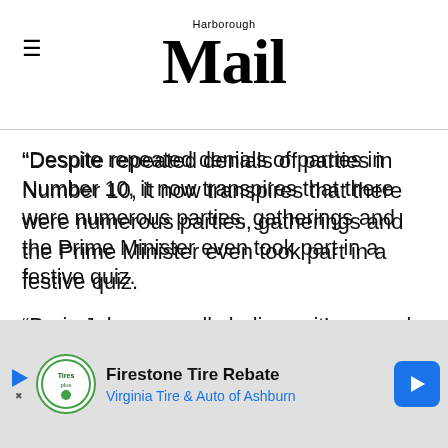Harborough Mail
“Despite repeated denials of parties in Number 10, it now transpires that there were numerous parties, gatherings and the Prime Minister even took part in a festive quiz.
“Boris Johnson really believes it’s one rule for him, another for everyone else.
“He is a man unfit to lead this country.”
Investigation into alleged rule brea...
[Figure (other): Advertisement banner for Firestone Tire Rebate - Virginia Tire & Auto of Ashburn]